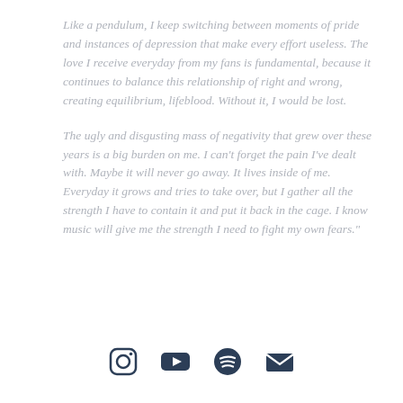Like a pendulum, I keep switching between moments of pride and instances of depression that make every effort useless. The love I receive everyday from my fans is fundamental, because it continues to balance this relationship of right and wrong, creating equilibrium, lifeblood. Without it, I would be lost.
The ugly and disgusting mass of negativity that grew over these years is a big burden on me. I can't forget the pain I've dealt with. Maybe it will never go away. It lives inside of me. Everyday it grows and tries to take over, but I gather all the strength I have to contain it and put it back in the cage. I know music will give me the strength I need to fight my own fears."
[Figure (other): Row of four social media icons: Instagram, YouTube, Spotify, Email/envelope]